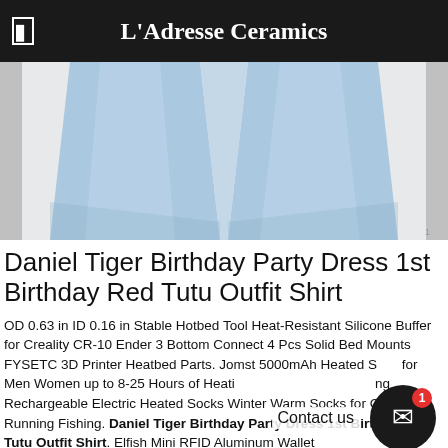L'Adresse Ceramics
[Figure (photo): Light blue fabric pants/clothing item photographed on a light gray background, showing the lower portion of the garment.]
Daniel Tiger Birthday Party Dress 1st Birthday Red Tutu Outfit Shirt
OD 0.63 in ID 0.16 in Stable Hotbed Tool Heat-Resistant Silicone Buffer for Creality CR-10 Ender 3 Bottom Connect 4 Pcs Solid Bed Mounts FYSETC 3D Printer Heatbed Parts. Jomst 5000mAh Heated Sock for Men Women up to 8-25 Hours of Heating Rechargeable Electric Heated Socks Winter Warm Socks for Camping Running Fishing. Daniel Tiger Birthday Party Dress 1st Birthday Red Tutu Outfit Shirt. Elfish Mini RFID Aluminum Wallet